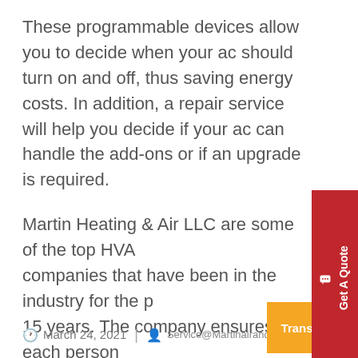These programmable devices allow you to decide when your ac should turn on and off, thus saving energy costs. In addition, a repair service will help you decide if your ac can handle the add-ons or if an upgrade is required.
Martin Heating & Air LLC are some of the top HVAC companies that have been in the industry for the past 15 years. The company ensures that each person receives the best, pocket-friendly services. For those interested, please visit their website for more details.
[Figure (other): Red 'Get A Quote' vertical button with chat icon on the right side of the page]
March 24, 2021 | Service@Martinairandheat.Com
[Figure (other): Orange 'Translate »' button at the bottom right]